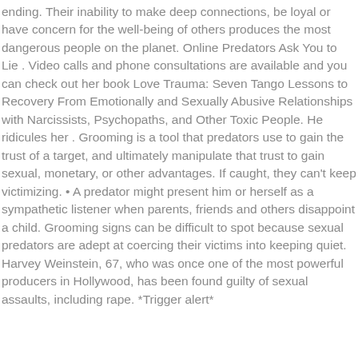ending. Their inability to make deep connections, be loyal or have concern for the well-being of others produces the most dangerous people on the planet. Online Predators Ask You to Lie . Video calls and phone consultations are available and you can check out her book Love Trauma: Seven Tango Lessons to Recovery From Emotionally and Sexually Abusive Relationships with Narcissists, Psychopaths, and Other Toxic People. He ridicules her . Grooming is a tool that predators use to gain the trust of a target, and ultimately manipulate that trust to gain sexual, monetary, or other advantages. If caught, they can't keep victimizing. • A predator might present him or herself as a sympathetic listener when parents, friends and others disappoint a child. Grooming signs can be difficult to spot because sexual predators are adept at coercing their victims into keeping quiet. Harvey Weinstein, 67, who was once one of the most powerful producers in Hollywood, has been found guilty of sexual assaults, including rape. *Trigger alert*